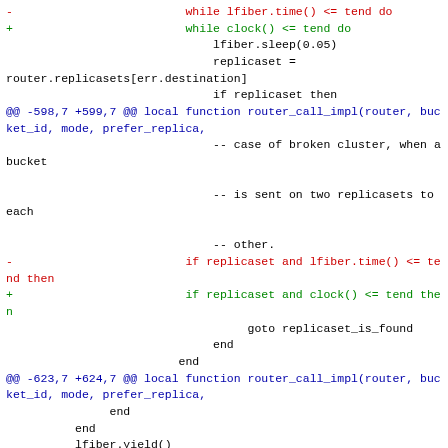Diff/patch code showing changes from lfiber.time() to clock() in router implementation, including while loop, replicaset checks, and until conditions.